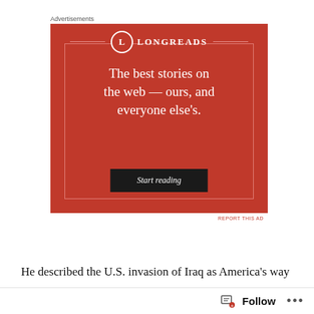Advertisements
[Figure (advertisement): Longreads advertisement on a red background. Logo shows a circle with 'L' and the text 'LONGREADS'. Headline reads: 'The best stories on the web — ours, and everyone else's.' Button says 'Start reading'.]
REPORT THIS AD
He described the U.S. invasion of Iraq as America's way